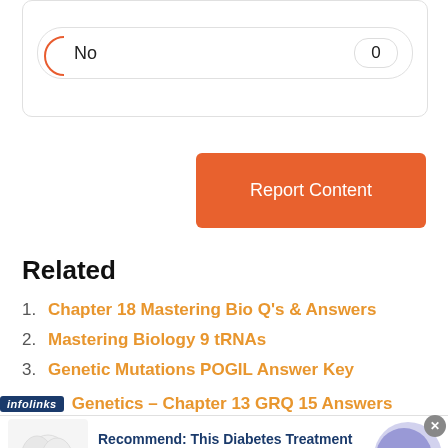No   0
Report Content
Related
1. Chapter 18 Mastering Bio Q's & Answers
2. Mastering Biology 9 tRNAs
3. Genetic Mutations POGIL Answer Key
Genetics – Chapter 13 GRQ 15 Answers
[Figure (screenshot): Advertisement banner: infolinks label, link text 'Genetics – Chapter 13 GRQ 15 Answers', ad for Diabetes Treatment with egg image, close button, and arrow navigation button]